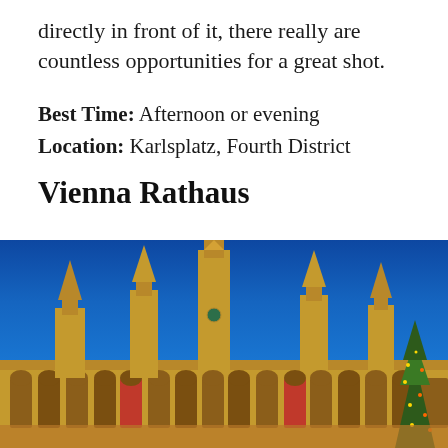directly in front of it, there really are countless opportunities for a great shot.
Best Time: Afternoon or evening
Location: Karlsplatz, Fourth District
Vienna Rathaus
[Figure (photo): Vienna Rathaus (City Hall) photographed from below at dusk/evening, illuminated in warm golden light against a deep blue sky. The Gothic Revival building features multiple ornate spires, with the central tall tower prominent. A Christmas tree with lights is visible at the right edge.]